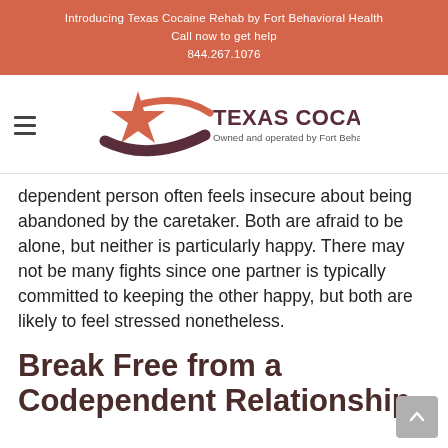Introducing Texas Cocaine Rehab by Fort Behavioral Health
Call now to get help
844.267.1076
[Figure (logo): Texas Cocaine Rehab logo with star and swoosh graphic, text: TEXAS COCAINE REHAB, Owned and operated by Fort Behavioral Health.]
dependent person often feels insecure about being abandoned by the caretaker. Both are afraid to be alone, but neither is particularly happy. There may not be many fights since one partner is typically committed to keeping the other happy, but both are likely to feel stressed nonetheless.
Break Free from a Codependent Relationship